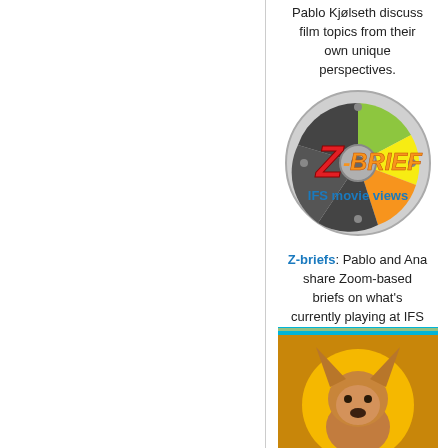Pablo Kjølseth discuss film topics from their own unique perspectives.
[Figure (logo): Z-BRIEF IFS movie views logo — a film reel with colorful sections and the text Z-BRIEF over IFS movie views]
Z-briefs: Pablo and Ana share Zoom-based briefs on what's currently playing at IFS
[Figure (photo): Sprocket Damage logo image — a dog with large ears inside a yellow circle, text SPROCKET DAMAGE on purple banner below]
Sprocket Damage: Sprocket Damage digs